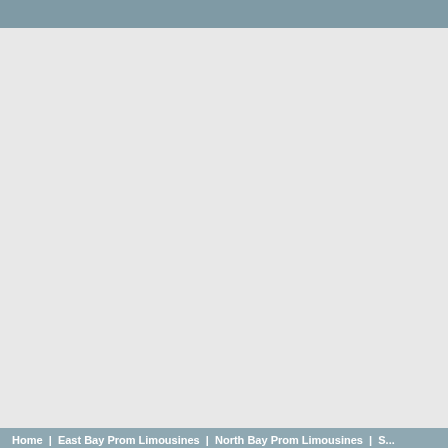Home | East Bay Prom Limousines | North Bay Prom Limousines | S...
$489.00 – Price does not include ICFS or Gratuity   Saturday prom service starts after 6 P.M.   8 hours is minimum on Saturday Prom service.
$580.00 – Price does not include ICFS or Gratuity   Saturday prom service starts after 6 P.M.   8 hours is minimum on Saturday Prom service.
Preferred limousine understands that your prom night is one of more memorable for you and your friends. Preferred Limousine will limousine is one of the most reliable and affordable limousine services for proms in San Leandro
San Leandro Prom Limousines